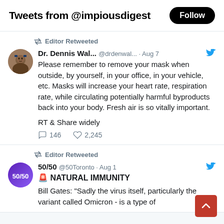Tweets from @impiousdigest
Editor Retweeted
Dr. Dennis Wal... @drdenwal... · Aug 7
Please remember to remove your mask when outside, by yourself, in your office, in your vehicle, etc. Masks will increase your heart rate, respiration rate, while circulating potentially harmful byproducts back into your body. Fresh air is so vitally important.

RT & Share widely
146   2,245
Editor Retweeted
50/50 @50Toronto · Aug 1
🚨 NATURAL IMMUNITY
Bill Gates: "Sadly the virus itself, particularly the variant called Omicron - is a type of